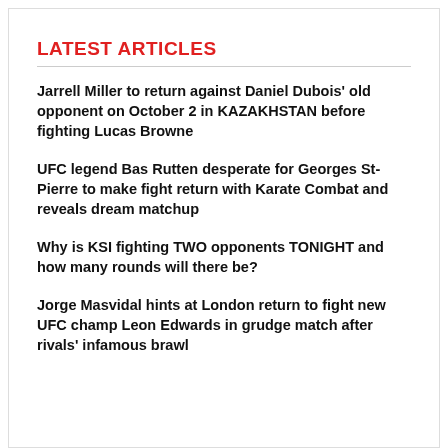LATEST ARTICLES
Jarrell Miller to return against Daniel Dubois' old opponent on October 2 in KAZAKHSTAN before fighting Lucas Browne
UFC legend Bas Rutten desperate for Georges St-Pierre to make fight return with Karate Combat and reveals dream matchup
Why is KSI fighting TWO opponents TONIGHT and how many rounds will there be?
Jorge Masvidal hints at London return to fight new UFC champ Leon Edwards in grudge match after rivals' infamous brawl